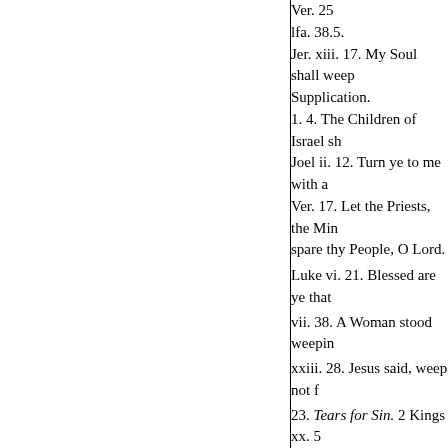Ver. 25
Ifa. 38.5.
Jer. xiii. 17. My Soul shall weep Supplication.
1. 4. The Children of Israel sh
Joel ii. 12. Turn ye to me with a
Ver. 17. Let the Priests, the Min spare thy People, O Lord.
Luke vi. 21. Blessed are ye that
vii. 38. A Woman stood weepin
xxiii. 28. Jesus said, weep not f
23. Tears for Sin. 2 Kings xx. 5
Job xvi. 20. Mine Eye pou
Pf. vi. 6. I water my Couch
Tears. xxxix. 12. Hold not th
lvi. 8. Put my Tears in thy Bottl